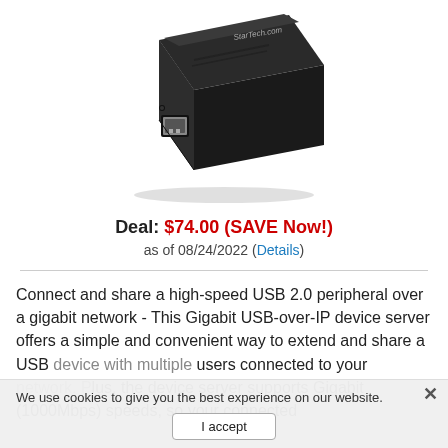[Figure (photo): A black StarTech USB 2.0 to Gigabit Ethernet adapter/device server, shown at an angle with an RJ45 port visible on the front face.]
Deal: $74.00 (SAVE Now!)
as of 08/24/2022 (Details)
Connect and share a high-speed USB 2.0 peripheral over a gigabit network - This Gigabit USB-over-IP device server offers a simple and convenient way to extend and share a USB device with multiple users connected to your network. Plus, the device server supports Gigabit (1000Mbps) speeds, so your connected
We use cookies to give you the best experience on our website.
I accept